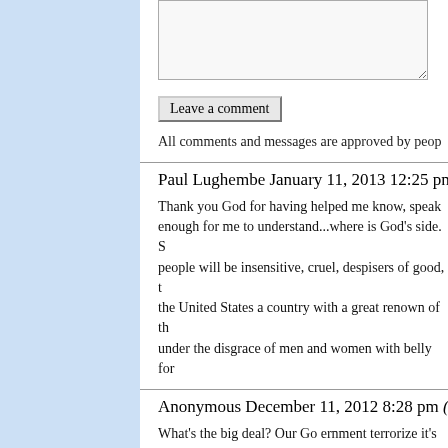Leave a comment
All comments and messages are approved by peop
Paul Lughembe January 11, 2013 12:25 pm (Pa
Thank you God for having helped me know, speak enough for me to understand...where is God's side. S people will be insensitive, cruel, despisers of good, t the United States a country with a great renown of th under the disgrace of men and women with belly for
Anonymous December 11, 2012 8:28 pm (Paci
What's the big deal? Our Go ernment terrorize it's why is it not ok for other Countries to do the same? S Obama Administration. Guess you will be hush hush
[Return to Top]